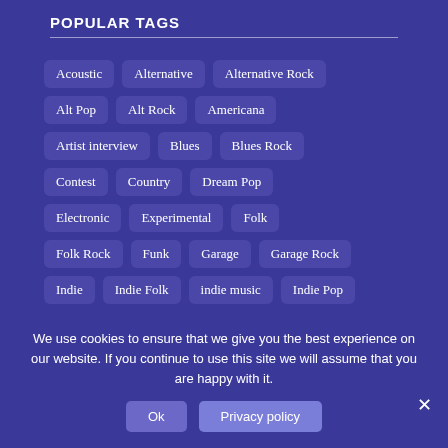POPULAR TAGS
Acoustic
Alternative
Alternative Rock
Alt Pop
Alt Rock
Americana
Artist interview
Blues
Blues Rock
Contest
Country
Dream Pop
Electronic
Experimental
Folk
Folk Rock
Funk
Garage
Garage Rock
Indie
Indie Folk
indie music
Indie Pop
Indie Rock
Interview
Jazz
Metal
We use cookies to ensure that we give you the best experience on our website. If you continue to use this site we will assume that you are happy with it.
Ok
Privacy policy